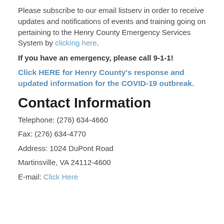Please subscribe to our email listserv in order to receive updates and notifications of events and training going on pertaining to the Henry County Emergency Services System by clicking here.
If you have an emergency, please call 9-1-1!
Click HERE for Henry County's response and updated information for the COVID-19 outbreak.
Contact Information
Telephone: (276) 634-4660
Fax: (276) 634-4770
Address: 1024 DuPont Road
Martinsville, VA 24112-4600
E-mail: Click Here